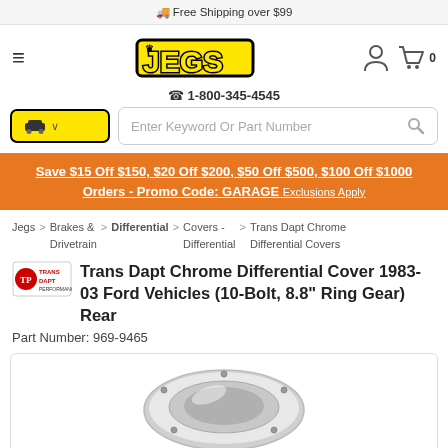🚚 Free Shipping over $99
[Figure (logo): JEGS logo — yellow bold text on yellow background with black border and crown symbol]
1-800-345-4545
Enter Keyword Or Part Number
Save $15 Off $150, $20 Off $200, $50 Off $500, $100 Off $1000 Orders - Promo Code: GARAGE Exclusions Apply
Jegs > Brakes & Drivetrain > Differential > Covers - Differential > Trans Dapt Chrome Differential Covers
Trans Dapt Chrome Differential Cover 1983-03 Ford Vehicles (10-Bolt, 8.8" Ring Gear) Rear
Part Number: 969-9465
[Figure (photo): Chrome differential cover product image, circular silver cover with bolts]